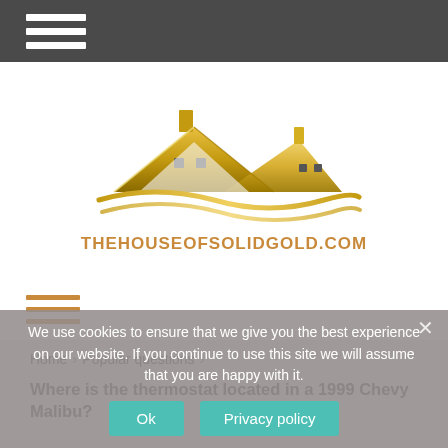Navigation menu bar
[Figure (logo): House of Solid Gold logo — golden rooftops of two houses with chimney stacks and wavy golden lines beneath, above the text THEHOUSEOFSOLIDGOLD.COM in gold/brown lettering]
[Figure (other): Orange hamburger menu icon (three horizontal orange lines)]
Home > Popular questions >
Where is the thermostat located in a 1999 Chevy Malibu?
We use cookies to ensure that we give you the best experience on our website. If you continue to use this site we will assume that you are happy with it.